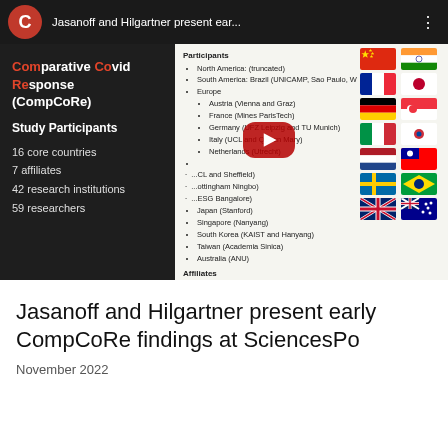[Figure (screenshot): YouTube video thumbnail screenshot showing a CompCoRe study participants slide with channel icon, video title 'Jasanoff and Hilgartner present ear...', left dark panel with Comparative Covid Response (CompCoRe) study info (16 core countries, 7 affiliates, 42 research institutions, 59 researchers), right panel showing list of participating countries and national flags, and YouTube play button overlay]
Jasanoff and Hilgartner present early CompCoRe findings at SciencesPo
November 2022